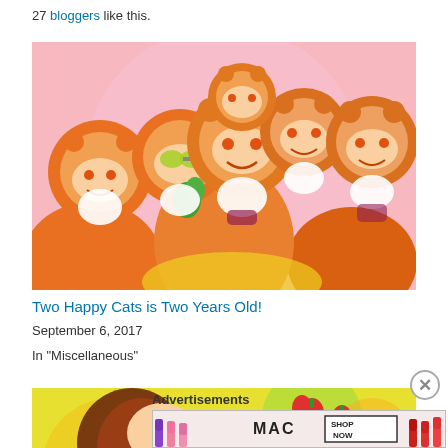27 bloggers like this.
[Figure (illustration): Anime illustration of multiple chibi girls wearing orange bear/animal hooded costumes, one with yellow-green goggles holding something green, colorful and energetic]
Two Happy Cats is Two Years Old!
September 6, 2017
In "Miscellaneous"
[Figure (illustration): Partial anime illustration with colorful yellow/green/orange background, partially visible character with brown hair]
Advertisements
[Figure (screenshot): MAC cosmetics advertisement showing lipsticks in purple, pink, and red colors with MAC logo and SHOP NOW button]